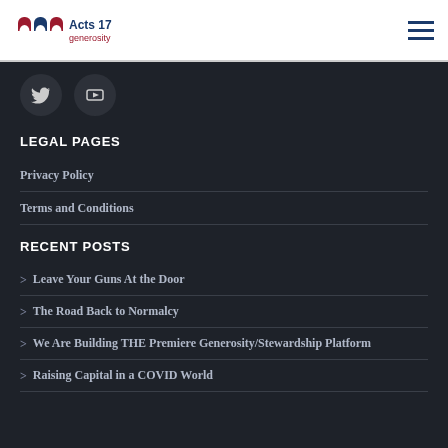Acts 17 Generosity
[Figure (logo): Acts 17 Generosity logo with two arch shapes in red and blue, and text 'Acts 17 generosity']
[Figure (illustration): Hamburger menu icon (three horizontal lines) in blue]
[Figure (illustration): Twitter bird icon in a dark circle]
[Figure (illustration): YouTube play button icon in a dark circle]
LEGAL PAGES
Privacy Policy
Terms and Conditions
RECENT POSTS
Leave Your Guns At the Door
The Road Back to Normalcy
We Are Building THE Premiere Generosity/Stewardship Platform
Raising Capital in a COVID World